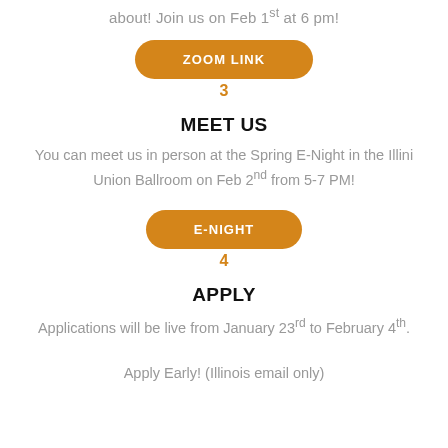about! Join us on Feb 1st at 6 pm!
[Figure (other): Orange rounded button labeled ZOOM LINK with number 3 below it]
MEET US
You can meet us in person at the Spring E-Night in the Illini Union Ballroom on Feb 2nd from 5-7 PM!
[Figure (other): Orange rounded button labeled E-NIGHT with number 4 below it]
APPLY
Applications will be live from January 23rd to February 4th.

Apply Early! (Illinois email only)